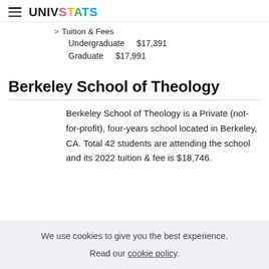UNIVSTATS
> Tuition & Fees
Undergraduate   $17,391
Graduate   $17,991
Berkeley School of Theology
Berkeley School of Theology is a Private (not-for-profit), four-years school located in Berkeley, CA. Total 42 students are attending the school and its 2022 tuition & fee is $18,746.
We use cookies to give you the best experience. Read our cookie policy.